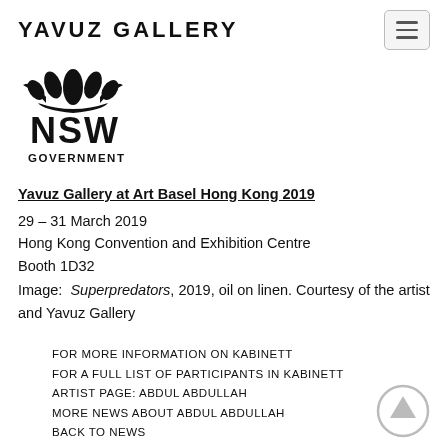YAVUZ GALLERY
[Figure (logo): NSW Government logo with lotus flower emblem above the text NSW GOVERNMENT]
Yavuz Gallery at Art Basel Hong Kong 2019
29 – 31 March 2019
Hong Kong Convention and Exhibition Centre
Booth 1D32
Image: Superpredators, 2019, oil on linen. Courtesy of the artist and Yavuz Gallery
FOR MORE INFORMATION ON KABINETT
FOR A FULL LIST OF PARTICIPANTS IN KABINETT
ARTIST PAGE: ABDUL ABDULLAH
MORE NEWS ABOUT ABDUL ABDULLAH
BACK TO NEWS